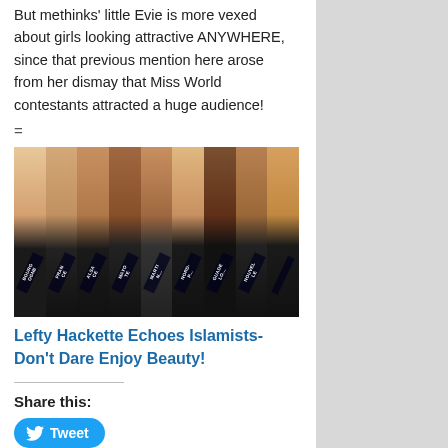But methinks little Evie is more vexed about girls looking attractive ANYWHERE, since that previous mention here arose from her dismay that Miss World contestants attracted a huge audience!
=
[Figure (photo): A horizontal strip of beauty pageant contestants in swimwear with sashes reading Bourgogne, France, Alsace, Mayotte, Martinique, Nord, Guadeloupe, Nouvelle, and another partial name.]
Lefty Hackette Echoes Islamists- Don't Dare Enjoy Beauty!
Share this:
Tweet